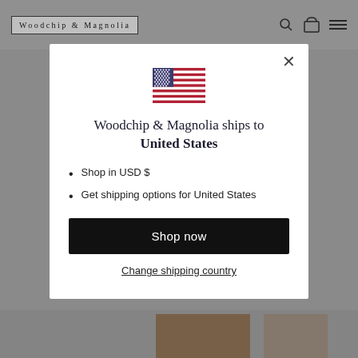[Figure (screenshot): Website header with Woodchip & Magnolia logo and navigation icons (search, cart, menu)]
[Figure (illustration): US flag emoji/icon centered in modal]
Woodchip & Magnolia ships to United States
Shop in USD $
Get shipping options for United States
Shop now
Change shipping country